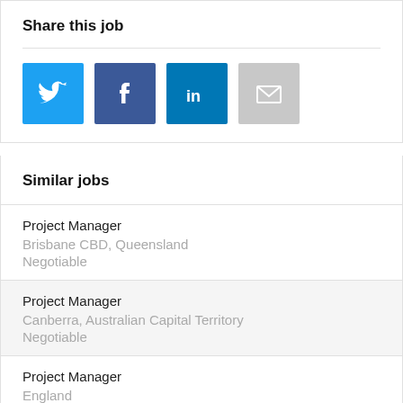Share this job
[Figure (infographic): Social sharing buttons: Twitter (light blue), Facebook (dark blue), LinkedIn (blue), Email (gray)]
Similar jobs
Project Manager
Brisbane CBD, Queensland
Negotiable
Project Manager
Canberra, Australian Capital Territory
Negotiable
Project Manager
England